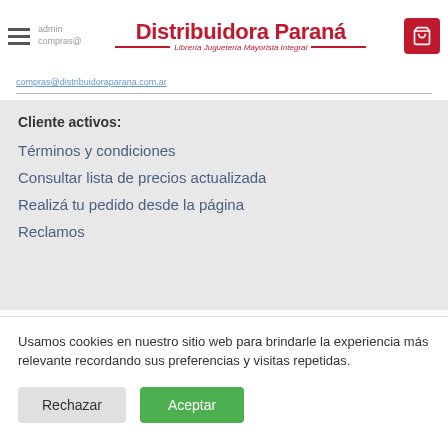Distribuidora Paraná – Librería Juguetería Mayorista Integral
compras@distribuidoraparana.com.ar
Cliente activos:
Términos y condiciones
Consultar lista de precios actualizada
Realizá tu pedido desde la página
Reclamos
Usamos cookies en nuestro sitio web para brindarle la experiencia más relevante recordando sus preferencias y visitas repetidas.
Rechazar | Aceptar